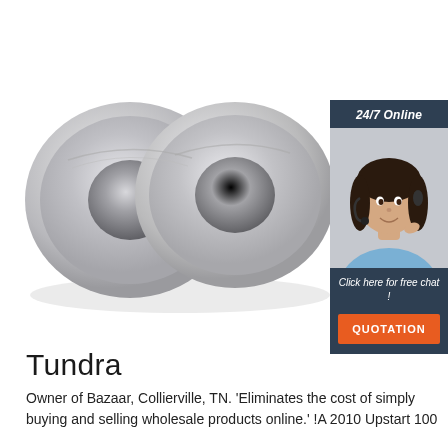[Figure (photo): Two metallic ball bearings with chrome finish on a white background, photographed from a slight angle.]
[Figure (illustration): Customer service widget showing a woman with a headset, a '24/7 Online' header, 'Click here for free chat!' text, and an orange 'QUOTATION' button.]
Tundra
Owner of Bazaar, Collierville, TN. 'Eliminates the cost of simply buying and selling wholesale products online.' !A 2010 Upstart 100